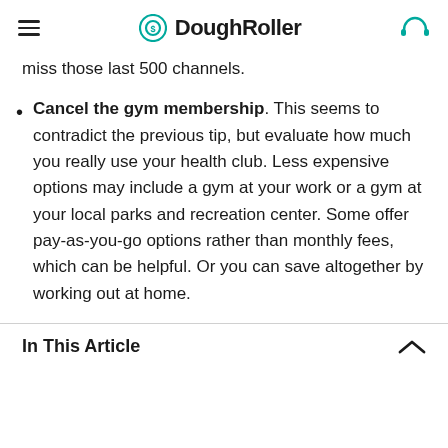DoughRoller
miss those last 500 channels.
Cancel the gym membership. This seems to contradict the previous tip, but evaluate how much you really use your health club. Less expensive options may include a gym at your work or a gym at your local parks and recreation center. Some offer pay-as-you-go options rather than monthly fees, which can be helpful. Or you can save altogether by working out at home.
In This Article